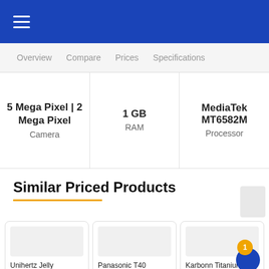Navigation header with hamburger menu
Overview | Compare | Prices | Specifications
| Camera | RAM | Processor |
| --- | --- | --- |
| 5 Mega Pixel | 2 Mega Pixel | 1 GB | MediaTek MT6582M |
Similar Priced Products
Unihertz Jelly
Rs. 4,800
Compare
Panasonic T40
Rs. 4,821
Compare
Karbonn Titanium Vista FHD
Rs. 4,833
Compare